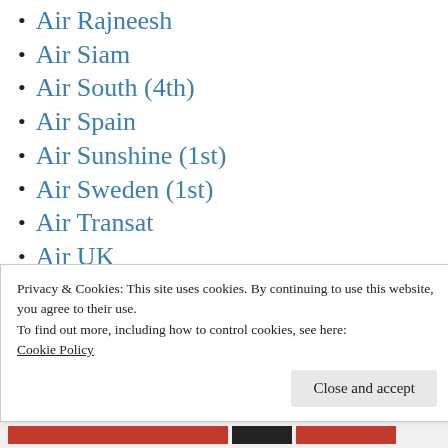Air Rajneesh
Air Siam
Air South (4th)
Air Spain
Air Sunshine (1st)
Air Sweden (1st)
Air Transat
Air UK
Air Vanuatu
Air VIA Bulgarian Airways
Air Zaïre
Privacy & Cookies: This site uses cookies. By continuing to use this website, you agree to their use.
To find out more, including how to control cookies, see here: Cookie Policy
Close and accept